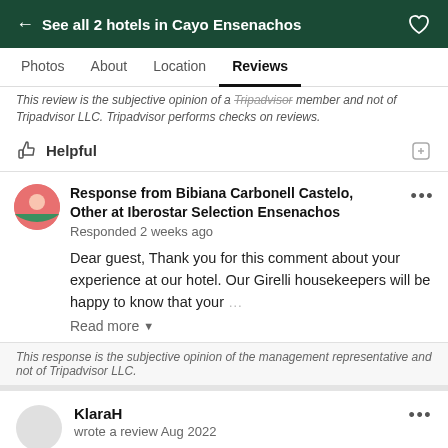← See all 2 hotels in Cayo Ensenachos
Photos   About   Location   Reviews
This review is the subjective opinion of a Tripadvisor member and not of Tripadvisor LLC. Tripadvisor performs checks on reviews.
Helpful
Response from Bibiana Carbonell Castelo, Other at Iberostar Selection Ensenachos
Responded 2 weeks ago
Dear guest, Thank you for this comment about your experience at our hotel. Our Girelli housekeepers will be happy to know that your
Read more
This response is the subjective opinion of the management representative and not of Tripadvisor LLC.
KlaraH
wrote a review Aug 2022